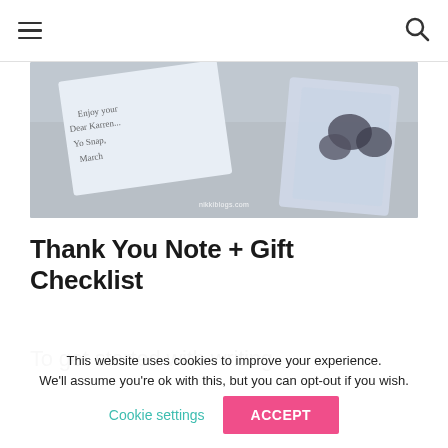[hamburger menu] [search icon]
[Figure (photo): A photo showing a handwritten thank-you note on a card next to small gift bags or packages on a gray surface. Watermark reads 'nikkiblogs.com'.]
Thank You Note + Gift Checklist
To get started with writing
This website uses cookies to improve your experience. We'll assume you're ok with this, but you can opt-out if you wish.
Cookie settings   ACCEPT